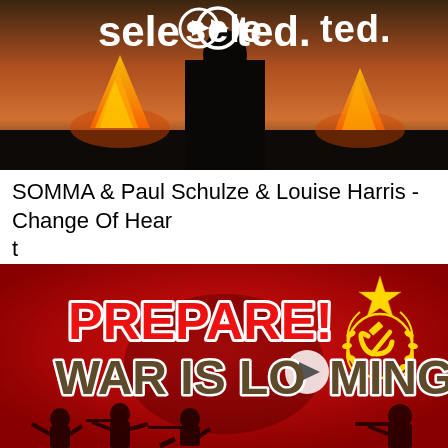[Figure (screenshot): Thumbnail image for 'SOMMA & Paul Schulze & Louise Harris - Change Of Heart' showing a dark silhouette against a sunset/dusk sky with bonfires, and the word 'selected.' with a play button logo in white text overlay.]
SOMMA & Paul Schulze & Louise Harris - Change Of Heart
[Figure (screenshot): Thumbnail image for a video titled 'PREPARE! WAR IS LOOMING' on a red background with Soviet hammer and sickle emblem/star, and silhouettes of soldiers at the bottom. A circular play button is overlaid in the center.]